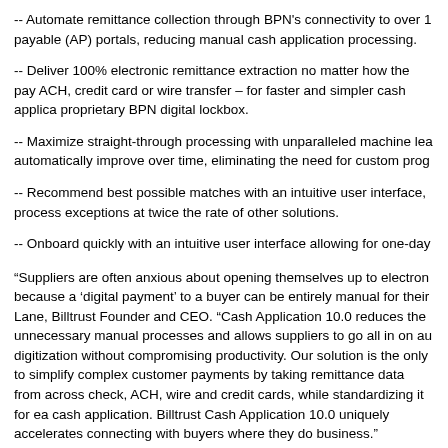-- Automate remittance collection through BPN's connectivity to over 1 payable (AP) portals, reducing manual cash application processing.
-- Deliver 100% electronic remittance extraction no matter how the pay ACH, credit card or wire transfer – for faster and simpler cash applica proprietary BPN digital lockbox.
-- Maximize straight-through processing with unparalleled machine lea automatically improve over time, eliminating the need for custom prog
-- Recommend best possible matches with an intuitive user interface, process exceptions at twice the rate of other solutions.
-- Onboard quickly with an intuitive user interface allowing for one-day
“Suppliers are often anxious about opening themselves up to electron because a ‘digital payment’ to a buyer can be entirely manual for their Lane, Billtrust Founder and CEO. “Cash Application 10.0 reduces the unnecessary manual processes and allows suppliers to go all in on au digitization without compromising productivity. Our solution is the only to simplify complex customer payments by taking remittance data from across check, ACH, wire and credit cards, while standardizing it for ea cash application. Billtrust Cash Application 10.0 uniquely accelerates connecting with buyers where they do business.”